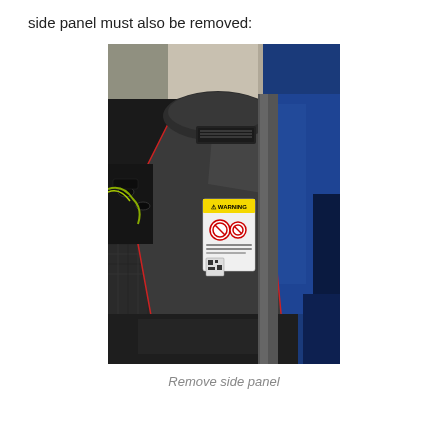side panel must also be removed:
[Figure (photo): Car interior showing the B-pillar area with the side panel partially removed. The dark gray interior trim panel is visible with a yellow warning sticker affixed to it. The blue exterior of the car door frame is visible on the right. The inner door structure and wiring are exposed on the left side.]
Remove side panel